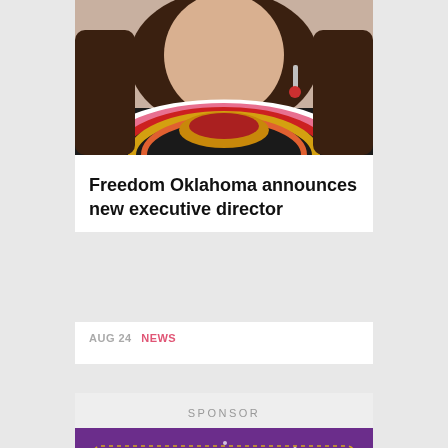[Figure (photo): Photo of a woman wearing a colorful crocheted striped sweater with red, pink, white, yellow and black stripes, with long brown hair and dangling earrings]
Freedom Oklahoma announces new executive director
AUG 24 NEWS
SPONSOR
[Figure (illustration): Purple advertisement for Lyric Theatre of Oklahoma's Broadway Bash! event, with gold ornate lettering and dotted border, text reads 'Lyric Theatre's Board of Directors cordially']